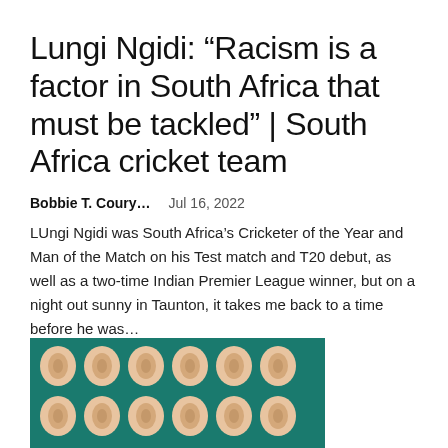Lungi Ngidi: “Racism is a factor in South Africa that must be tackled” | South Africa cricket team
Bobbie T. Coury...   Jul 16, 2022
LUngi Ngidi was South Africa’s Cricketer of the Year and Man of the Match on his Test match and T20 debut, as well as a two-time Indian Premier League winner, but on a night out sunny in Taunton, it takes me back to a time before he was...
[Figure (photo): Grid of ear-shaped objects on a teal/green background, arranged in rows]